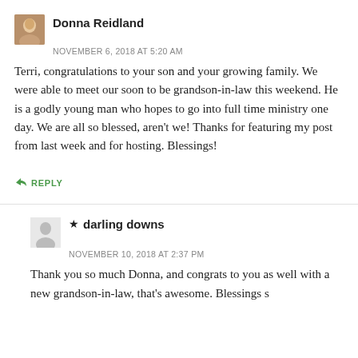Donna Reidland
NOVEMBER 6, 2018 AT 5:20 AM
Terri, congratulations to your son and your growing family. We were able to meet our soon to be grandson-in-law this weekend. He is a godly young man who hopes to go into full time ministry one day. We are all so blessed, aren't we! Thanks for featuring my post from last week and for hosting. Blessings!
REPLY
★ darling downs
NOVEMBER 10, 2018 AT 2:37 PM
Thank you so much Donna, and congrats to you as well with a new grandson-in-law, that's awesome. Blessings s